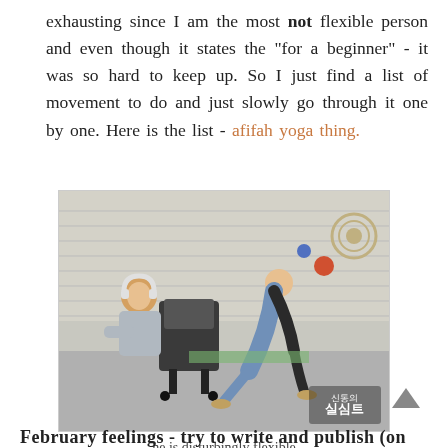exhausting since I am the most not flexible person and even though it states the "for a beginner" - it was so hard to keep up. So I just find a list of movement to do and just slowly go through it one by one. Here is the list - afifah yoga thing.
[Figure (photo): A person doing a yoga pose (forward fold/downward facing) in what appears to be an office or studio setting, with another person seated in a chair in the background. Korean text overlay visible in bottom right corner.]
he is disturbingly flexible
February feelings - try to write and publish (on